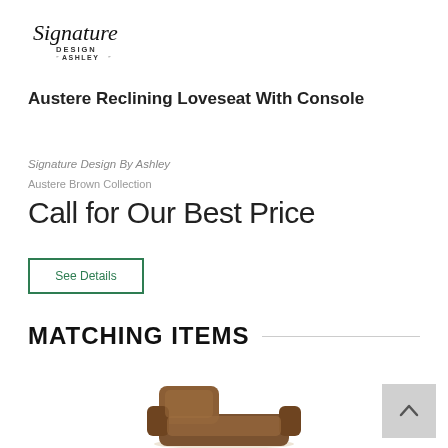[Figure (logo): Signature Design by Ashley logo — cursive 'Signature' text with 'DESIGN by ASHLEY' underneath]
Austere Reclining Loveseat With Console
Signature Design By Ashley
Austere Brown Collection
Call for Our Best Price
See Details
MATCHING ITEMS
[Figure (photo): Partial view of a brown leather recliner chair at the bottom of the page]
[Figure (other): Scroll-to-top button (grey square with upward chevron arrow)]